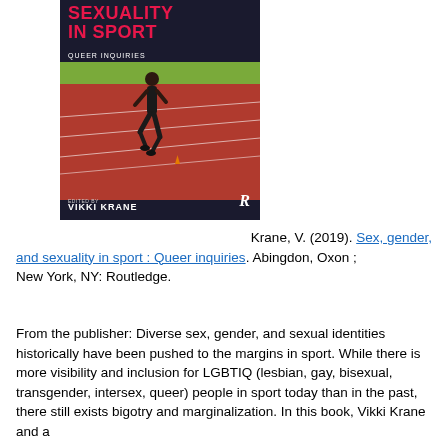[Figure (illustration): Book cover of 'Sexuality in Sport: Queer Inquiries' edited by Vikki Krane, showing a runner on a track, published by Routledge]
Krane, V. (2019). Sex, gender, and sexuality in sport : Queer inquiries. Abingdon, Oxon ; New York, NY: Routledge.
From the publisher: Diverse sex, gender, and sexual identities historically have been pushed to the margins in sport. While there is more visibility and inclusion for LGBTIQ (lesbian, gay, bisexual, transgender, intersex, queer) people in sport today than in the past, there still exists bigotry and marginalization. In this book, Vikki Krane and a